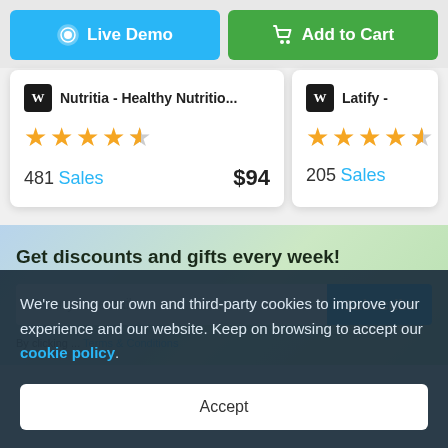[Figure (screenshot): Two action buttons: 'Live Demo' (blue) and 'Add to Cart' (green)]
Nutritia - Healthy Nutritio...
[Figure (other): 4.5 star rating for Nutritia]
481 Sales  $94
Latify -
[Figure (other): 4.5 star rating for Latify]
205 Sales
Get discounts and gifts every week!
Enter your email
Subscribe
By clicking ... Terms & Conditions
We're using our own and third-party cookies to improve your experience and our website. Keep on browsing to accept our cookie policy.
Accept